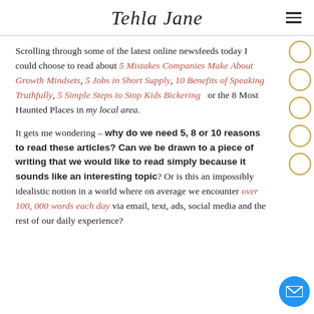Tehla Jane
Scrolling through some of the latest online newsfeeds today I could choose to read about 5 Mistakes Companies Make About Growth Mindsets, 5 Jobs in Short Supply, 10 Benefits of Speaking Truthfully, 5 Simple Steps to Stop Kids Bickering  or the 8 Most Haunted Places in my local area.
It gets me wondering – why do we need 5, 8 or 10 reasons to read these articles? Can we be drawn to a piece of writing that we would like to read simply because it sounds like an interesting topic? Or is this an impossibly idealistic notion in a world where on average we encounter over 100,000 words each day via email, text, ads, social media and the rest of our daily experience?